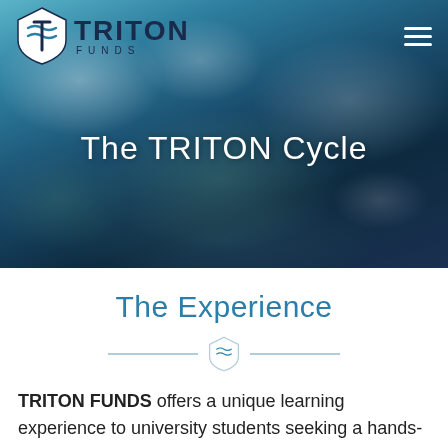[Figure (photo): Ocean waves crashing over dark rocks with blue-green water, used as hero background image for Triton Funds website]
TRITON FUNDS
The TRITON Cycle
The Experience
[Figure (logo): Triton Funds shield logo icon used as decorative divider]
TRITON FUNDS offers a unique learning experience to university students seeking a hands-on role in VC